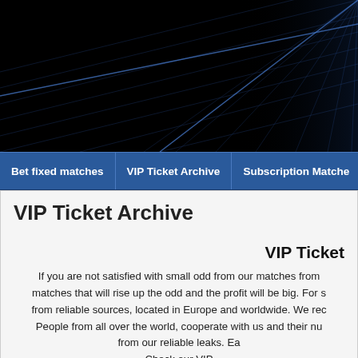[Figure (photo): Dark background header image with blue grid/net light lines on black background]
Bet fixed matches | VIP Ticket Archive | Subscription Matches
VIP Ticket Archive
VIP Ticket
If you are not satisfied with small odd from our matches from matches that will rise up the odd and the profit will be big. For s from reliable sources, located in Europe and worldwide. We rec People from all over the world, cooperate with us and their nu from our reliable leaks. Ea Check our VIP